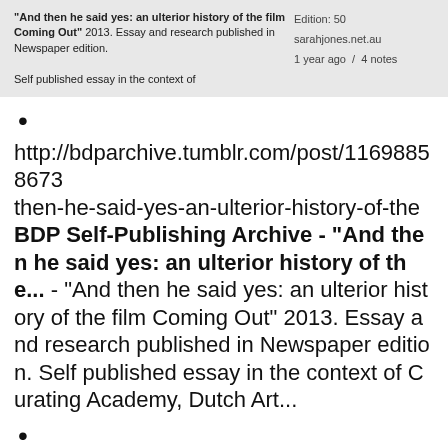[Figure (screenshot): Screenshot of a card/entry showing title 'And then he said yes: an ulterior history of the film Coming Out' 2013. Essay and research published in Newspaper edition. Self published essay in the context of. Right side shows Edition: 50, sarahjones.net.au, 1 year ago / 4 notes]
•
http://bdparchive.tumblr.com/post/11698858673... then-he-said-yes-an-ulterior-history-of-the BDP Self-Publishing Archive - "And then he said yes: an ulterior history of the... - "And then he said yes: an ulterior history of the film Coming Out" 2013. Essay and research published in Newspaper edition. Self published essay in the context of Curating Academy, Dutch Art...
•